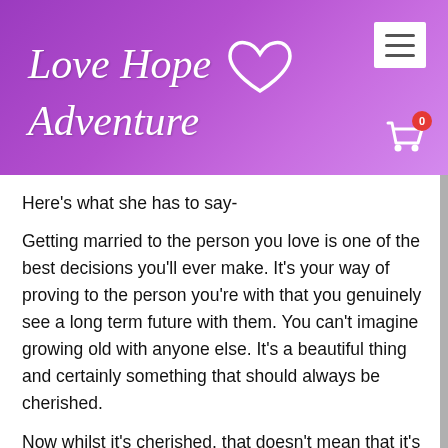[Figure (logo): Love Hope Adventure logo with heart outline on purple gradient background, with hamburger menu icon and shopping cart with badge showing 0]
Here's what she has to say-
Getting married to the person you love is one of the best decisions you'll ever make. It's your way of proving to the person you're with that you genuinely see a long term future with them. You can't imagine growing old with anyone else. It's a beautiful thing and certainly something that should always be cherished.
Now whilst it's cherished, that doesn't mean that it's a walk in the park either. Making a marriage work is sometimes really hard work and you'll look back and realize that the stress of planning the wedding was